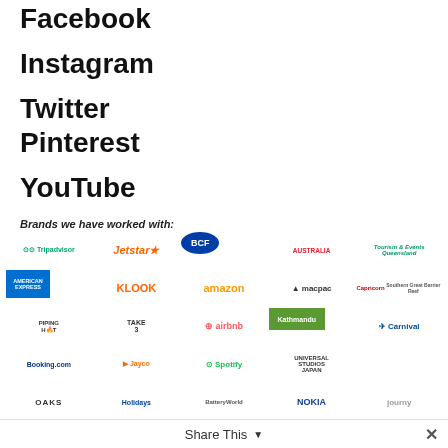Facebook
Instagram
Twitter
Pinterest
YouTube
Trip Advisor
Brands we have worked with:
[Figure (logo): Collection of brand logos including Tripadvisor, Jetstar, BCF, Australia, Queensland Tourism, American Express, KLOOK, amazon, macpac, Capricorn, Piping HOT, Take3, airbnb, Kathmandu, Carnival, Booking.com, Jayco, Spotify, Universal Studios Japan, OAKS, Holidays, BatteryWorld, NOKIA, journy]
Share This ×